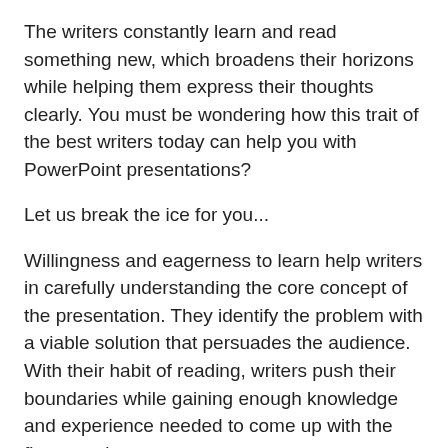The writers constantly learn and read something new, which broadens their horizons while helping them express their thoughts clearly. You must be wondering how this trait of the best writers today can help you with PowerPoint presentations?
Let us break the ice for you...
Willingness and eagerness to learn help writers in carefully understanding the core concept of the presentation. They identify the problem with a viable solution that persuades the audience. With their habit of reading, writers push their boundaries while gaining enough knowledge and experience needed to come up with the finest work.
The Bottom Line...
Remember, first impression counts...
Creating a good presentation starts with crafting